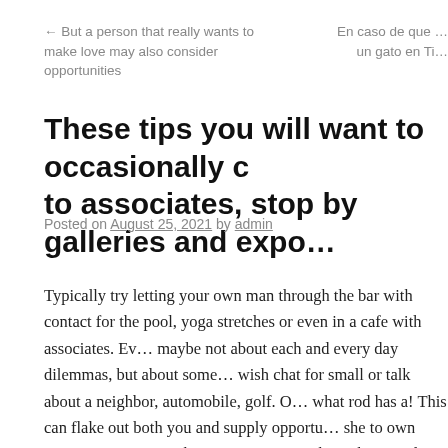← But a person that really wants to make love may also consider opportunities
En caso de que ... un gato en Ti...
These tips you will want to occasionally c... to associates, stop by galleries and expo...
Posted on August 25, 2021 by admin
Typically try letting your own man through the bar with contact for the pool, yoga stretches or even in a cafe with associates. Ev... maybe not about each and every day dilemmas, but about some... wish chat for small or talk about a neighbor, automobile, golf. O... what rod has a! This can flake out both you and supply opportu... she to own some spare time maybe once or twice each week. An... lover to replace the company's pursuits. This can be wrong! An... an individual, you will need to calmly, without yelling, describe... create, the thing they love.